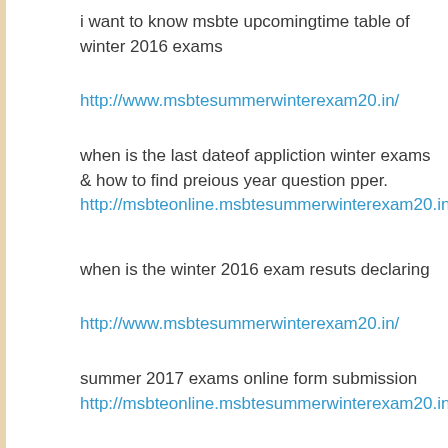i want to know msbte upcomingtime table of winter 2016 exams
http://www.msbtesummerwinterexam20.in/
when is the last dateof appliction winter exams & how to find preious year question pper.
http://msbteonline.msbtesummerwinterexam20.in/
when is the winter 2016 exam resuts declaring
http://www.msbtesummerwinterexam20.in/
summer 2017 exams online form submission
http://msbteonline.msbtesummerwinterexam20.in/